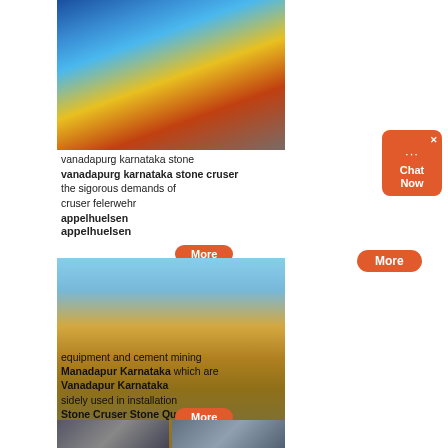[Figure (photo): Industrial machinery with blue cylindrical drum, yellow piping and orange/red equipment components, viewed from above]
vanadapurg karnataka stone cruser felerwehr appelhuelsen the sigorous demands of
[Figure (photo): Large yellow heavy quarry crusher/excavator machine working on crushed stone/gravel material]
Vanadapur Karnataka Stone Cruser Stone Quarry Plant India equipment and cement mining Manadapur Karnataka which are sidely used in installation
[Figure (photo): Two smaller images showing quarry/mining installation scenes]